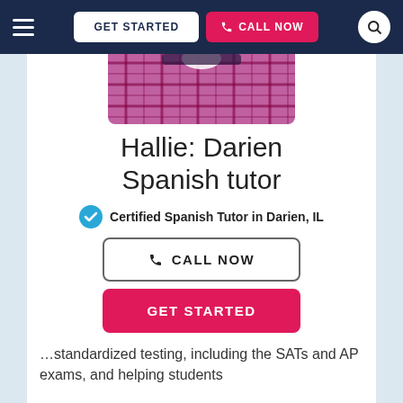GET STARTED  CALL NOW
[Figure (photo): Photo of Hallie, a tutor wearing a pink/magenta plaid shirt, cropped to show torso/shoulders]
Hallie: Darien Spanish tutor
Certified Spanish Tutor in Darien, IL
CALL NOW
GET STARTED
…standardized testing, including the SATs and AP exams, and helping students